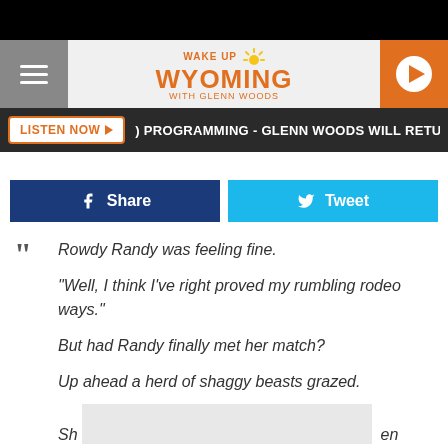[Figure (screenshot): Wake Up Wyoming with Glenn Woods radio station header with hamburger menu, logo, and play button]
LISTEN NOW ▶  ) PROGRAMMING - GLENN WOODS WILL RETURN AT
[Figure (screenshot): Facebook Share and Twitter Tweet social sharing buttons]
Rowdy Randy was feeling fine.

"Well, I think I've right proved my rumbling rodeo ways."

But had Randy finally met her match?

Up ahead a herd of shaggy beasts grazed.

Sh                                                        en